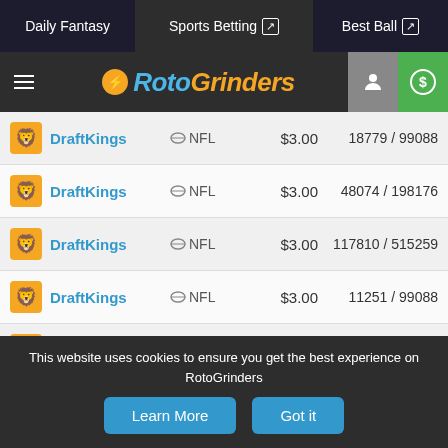Daily Fantasy | Sports Betting | Best Ball
[Figure (logo): RotoGrinders logo with hamburger menu, user icon, and dollar icon]
| Platform | Sport | Price | Entries |
| --- | --- | --- | --- |
| DraftKings | NFL | $3.00 | 18779 / 99088 |
| DraftKings | NFL | $3.00 | 48074 / 198176 |
| DraftKings | NFL | $3.00 | 117810 / 515259 |
| DraftKings | NFL | $3.00 | 11251 / 99088 |
| DraftKings | NFL | $1.00 | 1654 / 17835 |
| DraftKings | NFL | $1.00 | 23161 / 89179 |
| DraftKings | NFL | $1.00 | 23161 / 89179 |
| DraftKings | NFL | $0.00 | 1120 / 60617 |
This website uses cookies to ensure you get the best experience on RotoGrinders
Learn More | Got it